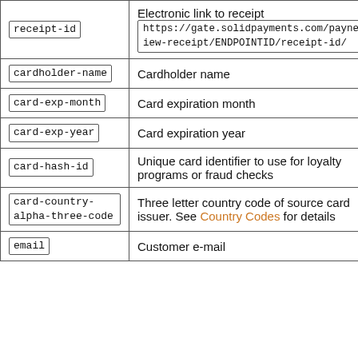| Parameter | Description |
| --- | --- |
| receipt-id | Electronic link to receipt
https://gate.solidpayments.com/paynet/view-receipt/ENDPOINTID/receipt-id/ |
| cardholder-name | Cardholder name |
| card-exp-month | Card expiration month |
| card-exp-year | Card expiration year |
| card-hash-id | Unique card identifier to use for loyalty programs or fraud checks |
| card-country-alpha-three-code | Three letter country code of source card issuer. See Country Codes for details |
| email | Customer e-mail |